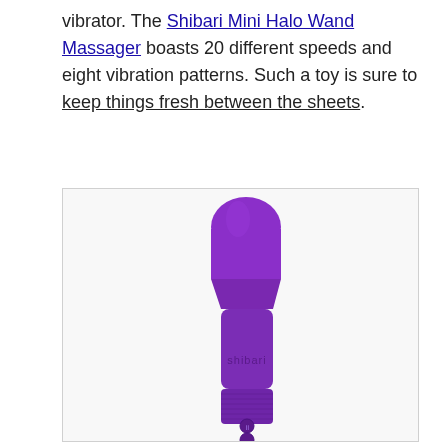vibrator. The Shibari Mini Halo Wand Massager boasts 20 different speeds and eight vibration patterns. Such a toy is sure to keep things fresh between the sheets.
[Figure (photo): A purple Shibari Mini Halo wand massager standing upright against a white background. The device has a rounded head, a narrowed neck, a cylindrical handle with textured grip, and two small circular buttons near the base. The brand name 'shibari' is embossed on the handle.]